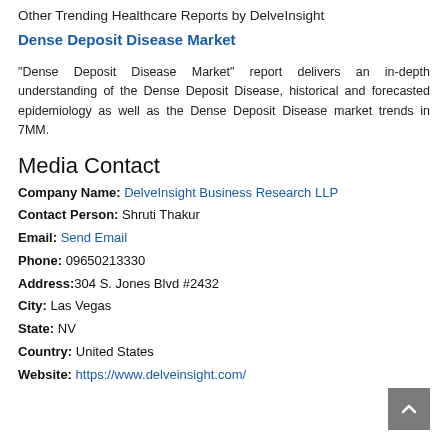Other Trending Healthcare Reports by DelveInsight
Dense Deposit Disease Market
"Dense Deposit Disease Market" report delivers an in-depth understanding of the Dense Deposit Disease, historical and forecasted epidemiology as well as the Dense Deposit Disease market trends in 7MM.
Media Contact
Company Name: DelveInsight Business Research LLP
Contact Person: Shruti Thakur
Email: Send Email
Phone: 09650213330
Address:304 S. Jones Blvd #2432
City: Las Vegas
State: NV
Country: United States
Website: https://www.delveinsight.com/